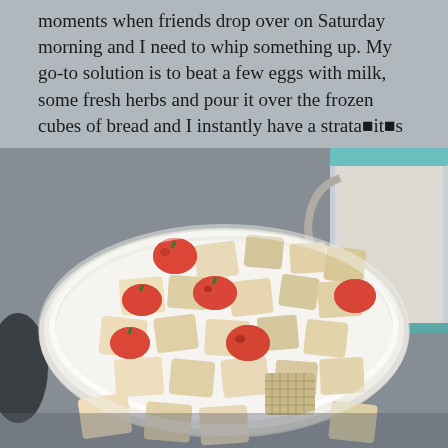moments when friends drop over on Saturday morning and I need to whip something up. My go-to solution is to beat a few eggs with milk, some fresh herbs and pour it over the frozen cubes of bread and I instantly have a strata■it■s awesome.
[Figure (photo): Overhead photo of a white ceramic baking dish filled with cubes of bread and sliced strawberries, with a glass pitcher of cream or milk mixture visible in the upper right corner. The scene is set on a gray surface.]